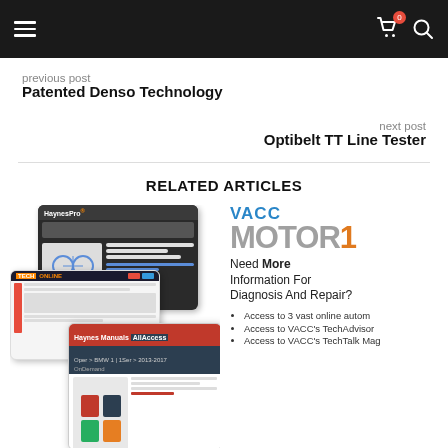Navigation bar with hamburger menu, cart (0), and search icons
previous post
Patented Denso Technology
next post
Optibelt TT Line Tester
RELATED ARTICLES
[Figure (screenshot): Screenshots of HaynesPro, TechOnline, and Haynes Manuals AllAccess on tablet/device screens]
VACC MOTOR1
Need More Information For Diagnosis And Repair?
• Access to 3 vast online autom
• Access to VACC's TechAdvisor
• Access to VACC's TechTalk Mag